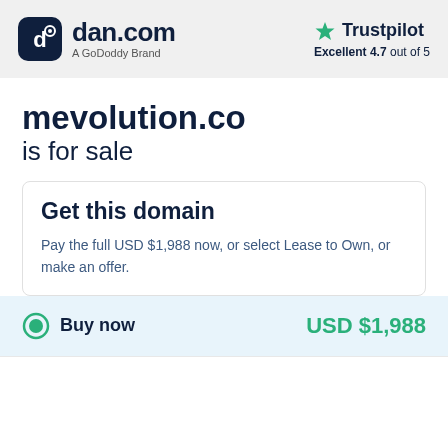dan.com — A GoDoddy Brand | Trustpilot Excellent 4.7 out of 5
mevolution.co is for sale
Get this domain
Pay the full USD $1,988 now, or select Lease to Own, or make an offer.
Buy now   USD $1,988